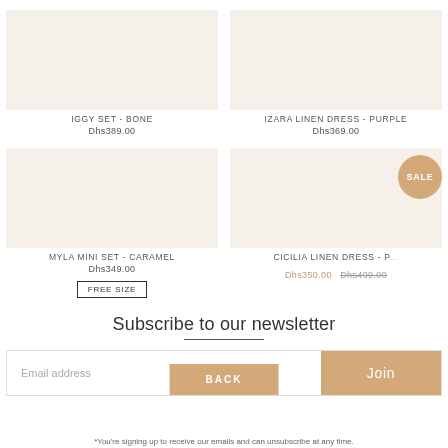IGGY SET - BONE
Dhs389.00
IZARA LINEN DRESS - PURPLE
Dhs369.00
MYLA MINI SET - CARAMEL
Dhs349.00
FREE SIZE
CICILIA LINEN DRESS - P...
Dhs350.00 Dhs499.00
SALE
Subscribe to our newsletter
Email address
Join
BACK
*You're signing up to receive our emails and can unsubscribe at any time.